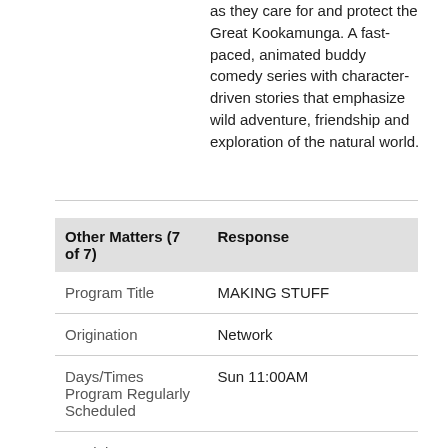as they care for and protect the Great Kookamunga. A fast-paced, animated buddy comedy series with character-driven stories that emphasize wild adventure, friendship and exploration of the natural world.
| Other Matters (7 of 7) | Response |
| --- | --- |
| Program Title | MAKING STUFF |
| Origination | Network |
| Days/Times Program Regularly Scheduled | Sun 11:00AM |
| Total times | 13 |